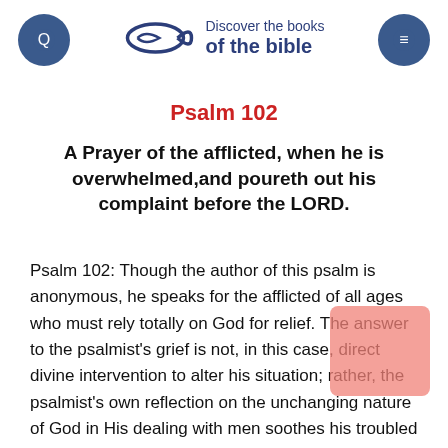Discover the books of the bible
Psalm 102
A Prayer of the afflicted, when he is overwhelmed,and poureth out his complaint before the LORD.
Psalm 102: Though the author of this psalm is anonymous, he speaks for the afflicted of all ages who must rely totally on God for relief. The answer to the psalmist's grief is not, in this case, direct divine intervention to alter his situation; rather, the psalmist's own reflection on the unchanging nature of God in His dealing with men soothes his troubled mind. After his introductory petition (verses 1-2), the